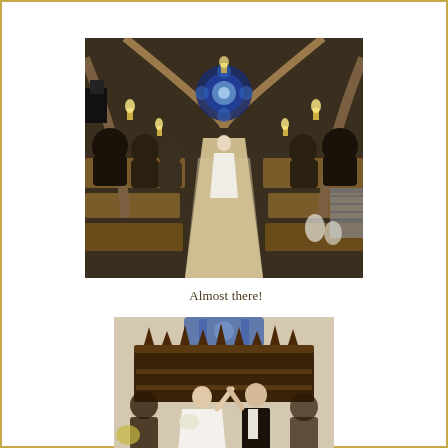[Figure (photo): Interior of a church during a wedding ceremony. View down the aisle from the back, with guests standing in pews on both sides. Bride in white dress walking down the aisle toward the altar. Arched stone architecture, warm lighting from wall sconces, and a large blue rose window at the far end.]
Almost there!
[Figure (photo): Bride and groom exiting the church after the ceremony, raising their joined hands in celebration. The bride wears a white dress and holds a bouquet. The groom is in a dark suit. They stand in front of ornate dark wood church furnishings, with a blue stained glass window visible above.]